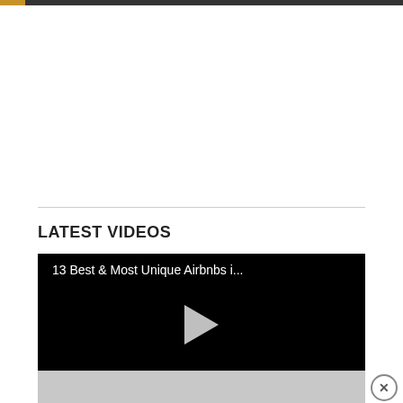LATEST VIDEOS
[Figure (screenshot): Video thumbnail showing black background with title '13 Best & Most Unique Airbnbs i...' and a play button in the center]